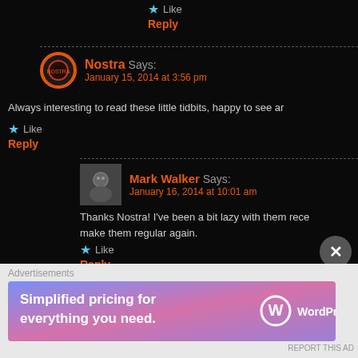Like
Reply
Nostra Says: January 15, 2014 at 3:56 pm
Always interesting to read these little tidbits, happy to see ar
Like
Reply
Mark Walker Says: January 16, 2014 at 10:01 am
Thanks Nostra! I've been a bit lazy with them rece make them regular again.
Like
Reply
fernandorafael Says: January 15, 2014 at 4:05 pm
Advertisements
Simplified pricing for everything you need.
WordPress.com